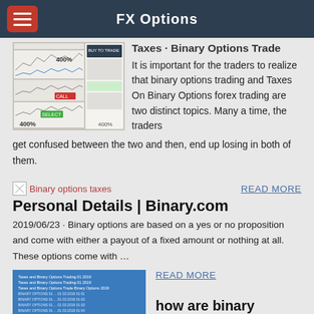FX Options
[Figure (screenshot): Screenshot of a trading platform interface showing charts and 400% labels]
Taxes · Binary Options Trade
It is important for the traders to realize that binary options trading and Taxes On Binary Options forex trading are two distinct topics. Many a time, the traders get confused between the two and then, end up losing in both of them.
[Figure (other): Broken image placeholder for Binary options taxes]
READ MORE
Personal Details | Binary.com
2019/06/23 · Binary options are based on a yes or no proposition and come with either a payout of a fixed amount or nothing at all. These options come with …
[Figure (screenshot): Blue background document about binary options trading]
READ MORE
how are binary options